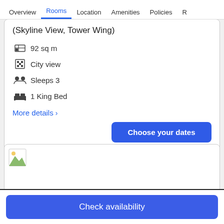Overview  Rooms  Location  Amenities  Policies  R
(Skyline View, Tower Wing)
92 sq m
City view
Sleeps 3
1 King Bed
More details >
Choose your dates
[Figure (photo): Room image placeholder (broken image icon)]
Check availability